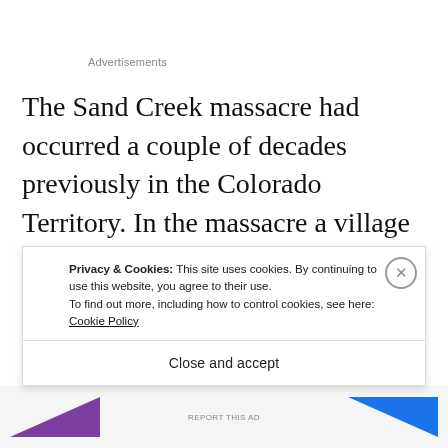Advertisements
The Sand Creek massacre had occurred a couple of decades previously in the Colorado Territory. In the massacre a village of over 100 Cheyenne and Arapaho people was wiped out by the US Army. Nelson A. Miles, an officer who eventually became the US Army's top general, wrote in his memoirs t
Privacy & Cookies: This site uses cookies. By continuing to use this website, you agree to their use.
To find out more, including how to control cookies, see here: Cookie Policy
Close and accept